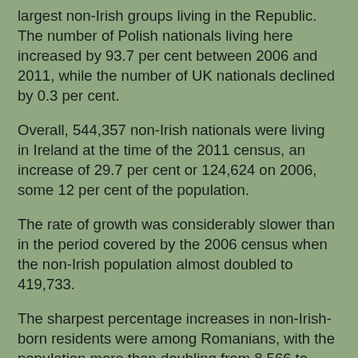largest non-Irish groups living in the Republic. The number of Polish nationals living here increased by 93.7 per cent between 2006 and 2011, while the number of UK nationals declined by 0.3 per cent.
Overall, 544,357 non-Irish nationals were living in Ireland at the time of the 2011 census, an increase of 29.7 per cent or 124,624 on 2006, some 12 per cent of the population.
The rate of growth was considerably slower than in the period covered by the 2006 census when the non-Irish population almost doubled to 419,733.
The sharpest percentage increases in non-Irish-born residents were among Romanians, with the population more than doubling from 8,566 to 17,995 (up 110 per cent) following EU accession in 2007 and people from India, where the community grew by 91 per cent to 17,856.
The largest rise in overall terms was, unsurprisingly, among the Polish-born community which grew from 63,090 to 115,193 (up 83 per cent) in the period. The growth in the